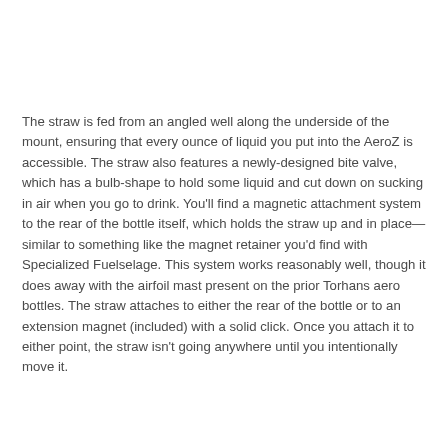The straw is fed from an angled well along the underside of the mount, ensuring that every ounce of liquid you put into the AeroZ is accessible. The straw also features a newly-designed bite valve, which has a bulb-shape to hold some liquid and cut down on sucking in air when you go to drink. You'll find a magnetic attachment system to the rear of the bottle itself, which holds the straw up and in place—similar to something like the magnet retainer you'd find with Specialized Fuelselage. This system works reasonably well, though it does away with the airfoil mast present on the prior Torhans aero bottles. The straw attaches to either the rear of the bottle or to an extension magnet (included) with a solid click. Once you attach it to either point, the straw isn't going anywhere until you intentionally move it.